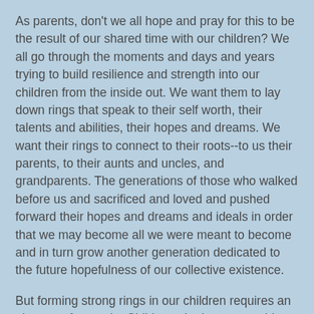As parents, don't we all hope and pray for this to be the result of our shared time with our children? We all go through the moments and days and years trying to build resilience and strength into our children from the inside out.  We want them to lay down rings that speak to their self worth, their talents and abilities, their hopes and dreams.  We want their rings to connect to their roots--to us their parents, to their aunts and uncles, and grandparents.  The generations of those who walked before us and sacrificed and loved and pushed forward their hopes and dreams and ideals in order that we may become all we were meant to become and in turn grow another generation dedicated to the future hopefulness of our collective existence.
But forming strong rings in our children requires an element of struggle.  Children who have everything provided to them and are expected to contribute nothing, do not grow strong rings. Children who have parents who solve every issue and rush in to always make everything better, do not grow strong rings.  As difficult as it is to hear, children grow rings through pain.  Children grow rings through struggle.  Children grow rings through perseverance and work.  Children grow rings